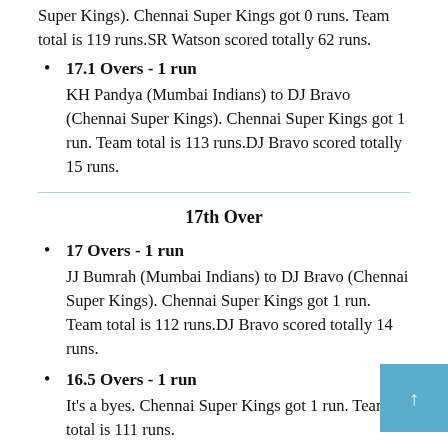Super Kings). Chennai Super Kings got 0 runs. Team total is 119 runs.SR Watson scored totally 62 runs.
17.1 Overs - 1 run
KH Pandya (Mumbai Indians) to DJ Bravo (Chennai Super Kings). Chennai Super Kings got 1 run. Team total is 113 runs.DJ Bravo scored totally 15 runs.
17th Over
17 Overs - 1 run
JJ Bumrah (Mumbai Indians) to DJ Bravo (Chennai Super Kings). Chennai Super Kings got 1 run. Team total is 112 runs.DJ Bravo scored totally 14 runs.
16.5 Overs - 1 run
It's a byes. Chennai Super Kings got 1 run. Team total is 111 runs.
16.4 Overs - No run
JJ Bumrah (Mumbai Indians) to SR Watson (Chennai Super...